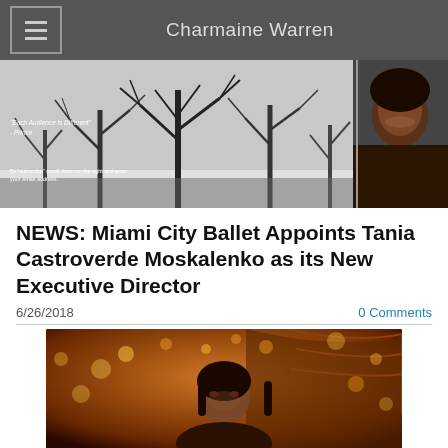Charmaine Warren
[Figure (photo): Banner photo combining a black and white image of bare trees in winter with a quote 'Each Audience is Different - Prince' and a subscribe note, alongside a portrait of a smiling Black woman]
NEWS: Miami City Ballet Appoints Tania Castroverde Moskalenko as its New Executive Director
6/26/2018
0 Comments
[Figure (photo): Photo of a woman (Tania Castroverde Moskalenko) standing in a warmly lit theater with bokeh lights in the background]